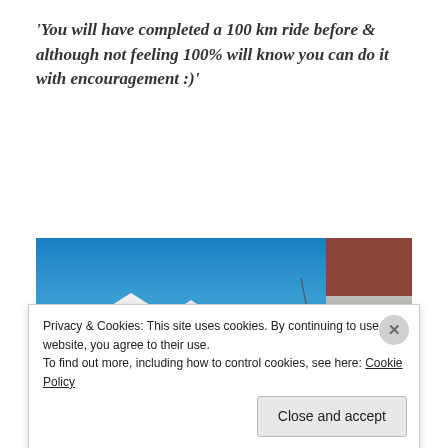'You will have completed a 100 km ride before & although not feeling 100% will know you can do it with encouragement :)'
[Figure (photo): Street-level photo of a small town main street with white buildings, shops with awnings and umbrellas, blue sky]
Privacy & Cookies: This site uses cookies. By continuing to use this website, you agree to their use. To find out more, including how to control cookies, see here: Cookie Policy